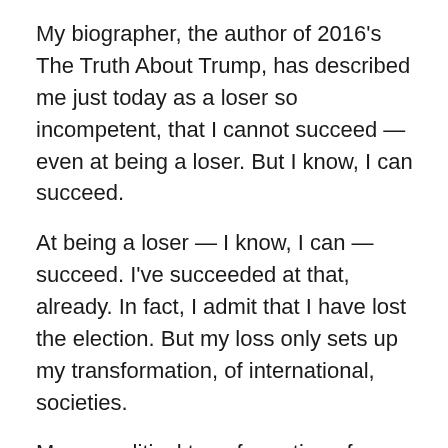My biographer, the author of 2016's The Truth About Trump, has described me just today as a loser so incompetent, that I cannot succeed — even at being a loser. But I know, I can succeed.
At being a loser — I know, I can — succeed. I've succeeded at that, already. In fact, I admit that I have lost the election. But my loss only sets up my transformation, of international, societies.
My geopolitical transformation of international society was the issue last night at yet another emergency meeting of Vlad's cabal in soirée, lunar. And Vlad's guys, have reauthorized, me.
Vlad's guys are on edge. The virus and my loss, in a year so fraught with loss, has them all, on edge. On edge are,